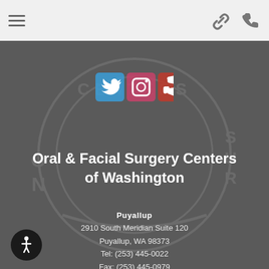Navigation bar with hamburger menu and icons
[Figure (illustration): Social media icons: Twitter (blue bird), Instagram (gradient camera), Yelp (red burst) displayed on dark grey background with watermark logo]
Oral & Facial Surgery Centers of Washington
Puyallup
2910 South Meridian Suite 120
Puyallup, WA 98373
Tel: (253) 445-0022
Fax: (253) 445-0979
[Figure (illustration): Accessibility wheelchair icon in white on black circle button]